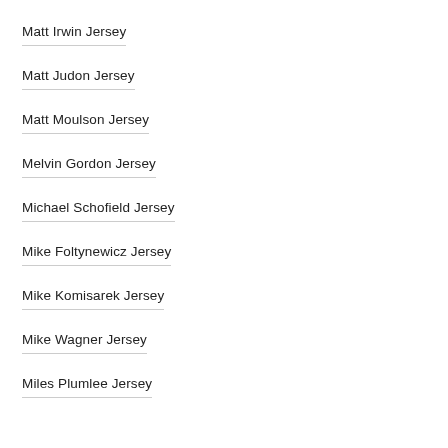Matt Irwin Jersey
Matt Judon Jersey
Matt Moulson Jersey
Melvin Gordon Jersey
Michael Schofield Jersey
Mike Foltynewicz Jersey
Mike Komisarek Jersey
Mike Wagner Jersey
Miles Plumlee Jersey